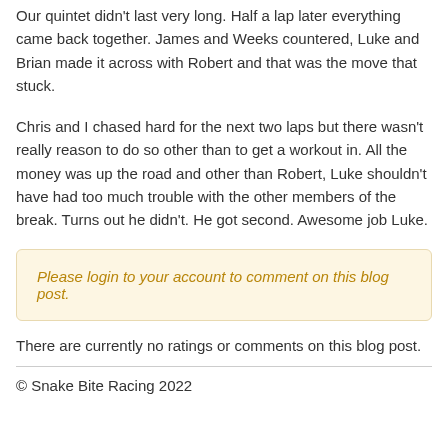Our quintet didn't last very long. Half a lap later everything came back together. James and Weeks countered, Luke and Brian made it across with Robert and that was the move that stuck.
Chris and I chased hard for the next two laps but there wasn't really reason to do so other than to get a workout in. All the money was up the road and other than Robert, Luke shouldn't have had too much trouble with the other members of the break. Turns out he didn't. He got second. Awesome job Luke.
Please login to your account to comment on this blog post.
There are currently no ratings or comments on this blog post.
© Snake Bite Racing 2022